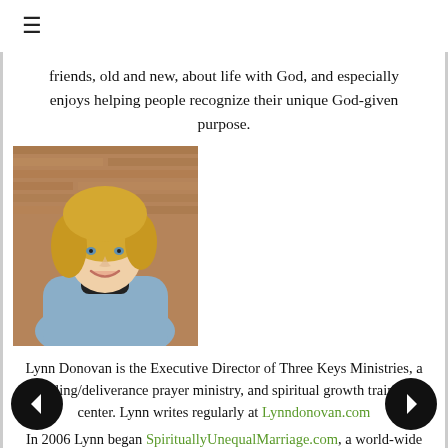≡
friends, old and new, about life with God, and especially enjoys helping people recognize their unique God-given purpose.
[Figure (photo): Portrait photo of Lynn Donovan, a blonde woman smiling, wearing a denim jacket against a brick wall background.]
Lynn Donovan is the Executive Director of Three Keys Ministries, a healing/deliverance prayer ministry, and spiritual growth training center. Lynn writes regularly at Lynndonovan.com
In 2006 Lynn began SpirituallyUnequalMarriage.com, a world-wide community of believers who pray for the salvation of their spouses. She is an award-winning author,